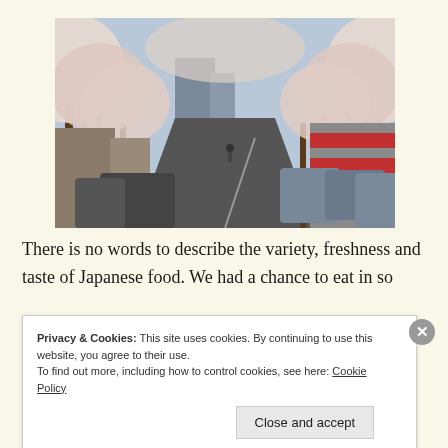[Figure (photo): Street scene lined with blooming cherry blossom trees on both sides, looking down a city street with parked cars and buildings visible in the background.]
There is no words to describe the variety, freshness and taste of Japanese food. We had a chance to eat in so
Privacy & Cookies: This site uses cookies. By continuing to use this website, you agree to their use.
To find out more, including how to control cookies, see here: Cookie Policy
[Close and accept]